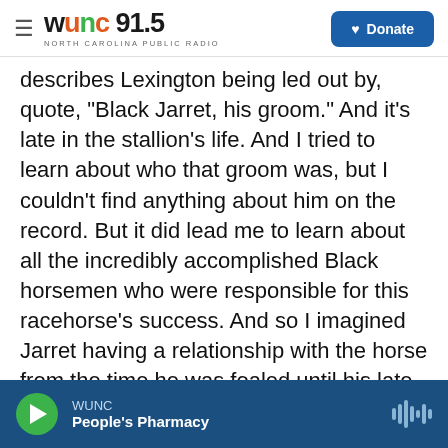WUNC 91.5 NORTH CAROLINA PUBLIC RADIO | Donate
describes Lexington being led out by, quote, "Black Jarret, his groom." And it's late in the stallion's life. And I tried to learn about who that groom was, but I couldn't find anything about him on the record. But it did lead me to learn about all the incredibly accomplished Black horsemen who were responsible for this racehorse's success. And so I imagined Jarret having a relationship with the horse from the time he was foaled until his late life. And I based that on my own relationship with horses and the incredible understanding that you can have if you can bridge the species divide and win their trust and their affection.
WUNC | People's Pharmacy